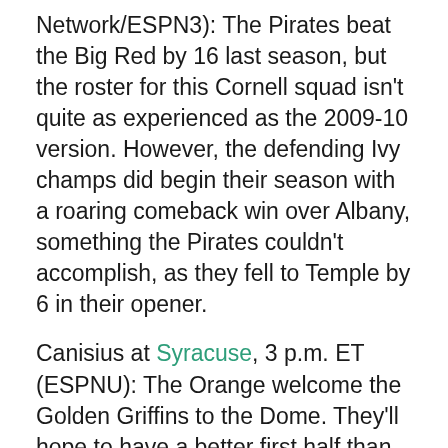Network/ESPN3): The Pirates beat the Big Red by 16 last season, but the roster for this Cornell squad isn't quite as experienced as the 2009-10 version. However, the defending Ivy champs did begin their season with a roaring comeback win over Albany, something the Pirates couldn't accomplish, as they fell to Temple by 6 in their opener.
Canisius at Syracuse, 3 p.m. ET (ESPNU): The Orange welcome the Golden Griffins to the Dome. They'll hope to have a better first half than they did in their win over Northern Iowa Friday night. Canisius also opened with a victory, topping Little 3 rival St. Bonaventure by 10 in Buffalo.
Princeton at Duke (CBE Classic), 5 p.m. ET (ESPNU): The National Champions open up their title defense against the team that could well dethrone Cornell atop the Ivy. Princeton, the Big Red's closest competitor, If...